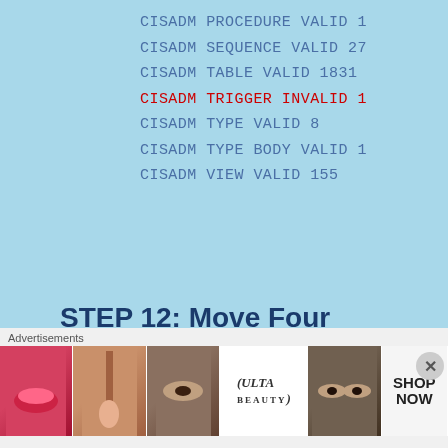CISADM PROCEDURE VALID 1
CISADM SEQUENCE VALID 27
CISADM TABLE VALID 1831
CISADM TRIGGER INVALID 1
CISADM TYPE VALID 8
CISADM TYPE BODY VALID 1
CISADM VIEW VALID 155
STEP 12: Move Four Indexes onto Right Tablespace
If none default tablespace name “CISADM” is used instead of default “CIST_01”  tablespace
[Figure (other): Ulta Beauty advertisement banner with makeup product images and SHOP NOW button]